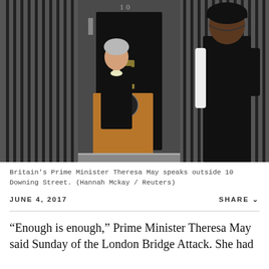[Figure (photo): Britain's Prime Minister Theresa May speaks at a podium outside 10 Downing Street, with an armed police officer standing guard to the right.]
Britain's Prime Minister Theresa May speaks outside 10 Downing Street. (Hannah Mckay / Reuters)
JUNE 4, 2017
SHARE ∨
“Enough is enough,” Prime Minister Theresa May said Sunday of the London Bridge Attack. She had